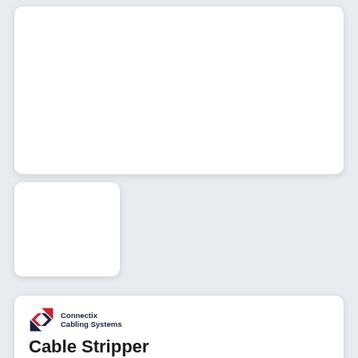[Figure (other): Large white card placeholder at top of page]
[Figure (other): Small white card placeholder at middle-left of page]
[Figure (logo): Connectix Cabling Systems logo with red/navy X emblem]
Cable Stripper
Part Code: 00A-012-004-00